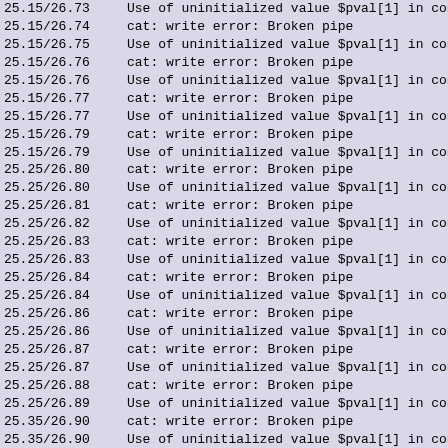| timestamp | message |
| --- | --- |
| 25.15/26.73 | Use of uninitialized value $pval[1] in concat |
| 25.15/26.74 | cat: write error: Broken pipe |
| 25.15/26.75 | Use of uninitialized value $pval[1] in concat |
| 25.15/26.76 | cat: write error: Broken pipe |
| 25.15/26.76 | Use of uninitialized value $pval[1] in concat |
| 25.15/26.77 | cat: write error: Broken pipe |
| 25.15/26.77 | Use of uninitialized value $pval[1] in concat |
| 25.15/26.79 | cat: write error: Broken pipe |
| 25.15/26.79 | Use of uninitialized value $pval[1] in concat |
| 25.25/26.80 | cat: write error: Broken pipe |
| 25.25/26.80 | Use of uninitialized value $pval[1] in concat |
| 25.25/26.81 | cat: write error: Broken pipe |
| 25.25/26.82 | Use of uninitialized value $pval[1] in concat |
| 25.25/26.83 | cat: write error: Broken pipe |
| 25.25/26.83 | Use of uninitialized value $pval[1] in concat |
| 25.25/26.84 | cat: write error: Broken pipe |
| 25.25/26.84 | Use of uninitialized value $pval[1] in concat |
| 25.25/26.86 | cat: write error: Broken pipe |
| 25.25/26.86 | Use of uninitialized value $pval[1] in concat |
| 25.25/26.87 | cat: write error: Broken pipe |
| 25.25/26.87 | Use of uninitialized value $pval[1] in concat |
| 25.25/26.88 | cat: write error: Broken pipe |
| 25.25/26.89 | Use of uninitialized value $pval[1] in concat |
| 25.35/26.90 | cat: write error: Broken pipe |
| 25.35/26.90 | Use of uninitialized value $pval[1] in concat |
| 25.35/26.91 | cat: write error: Broken pipe |
| 25.35/26.91 | Use of uninitialized value $pval[1] in concat |
| 25.35/26.93 | cat: write error: Broken pipe |
| 25.35/26.93 | Use of uninitialized value $pval[1] in concat |
| 25.35/26.94 | cat: write error: Broken pipe |
| 25.35/26.94 | Use of uninitialized value $pval[1] in concat |
| 25.35/26.95 | cat: write error: Broken pipe |